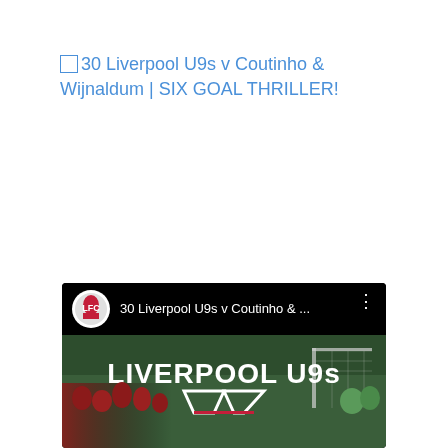30 Liverpool U9s v Coutinho & Wijnaldum | SIX GOAL THRILLER!
[Figure (screenshot): YouTube video card thumbnail showing Liverpool U9s match video. Black header bar with Liverpool FC circular logo, text '30 Liverpool U9s v Coutinho & ...' and three-dot menu icon. Below is a football pitch thumbnail with 'LIVERPOOL U9s' text in white bold lettering and a V-shape graphic, with players in red and green/blue kits visible.]